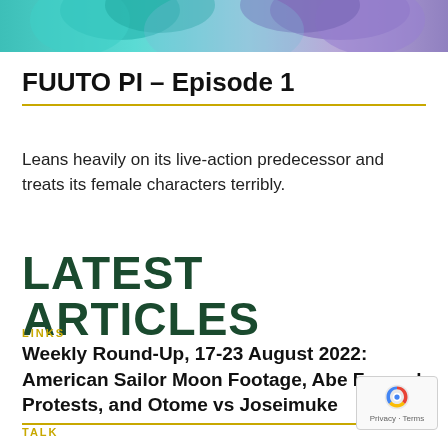[Figure (illustration): Top banner image showing anime characters with teal and purple hair colors]
FUUTO PI – Episode 1
Leans heavily on its live-action predecessor and treats its female characters terribly.
LATEST ARTICLES
LINKS
Weekly Round-Up, 17-23 August 2022: American Sailor Moon Footage, Abe Funeral Protests, and Otome vs Joseimuke
TALK